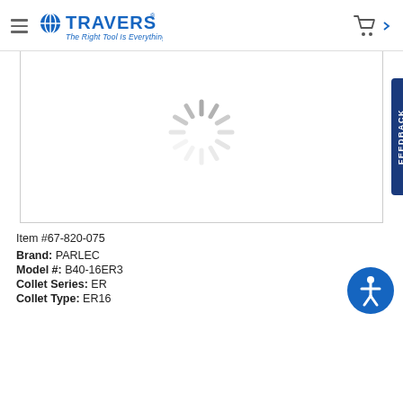TRAVERS - The Right Tool Is Everything.
[Figure (screenshot): Loading spinner (gray radial lines) shown in product image area]
Item #67-820-075
Brand: PARLEC
Model #: B40-16ER3
Collet Series: ER
Collet Type: ER16